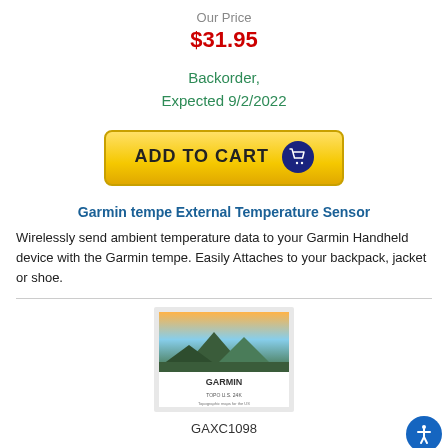Our Price
$31.95
Backorder, Expected 9/2/2022
[Figure (illustration): Yellow 'ADD TO CART' button with shopping cart icon on dark blue circle]
Garmin tempe External Temperature Sensor
Wirelessly send ambient temperature data to your Garmin Handheld device with the Garmin tempe. Easily Attaches to your backpack, jacket or shoe.
[Figure (photo): Garmin product box showing TOPO U.S. 24K map with mountain landscape on the cover]
GAXC1098